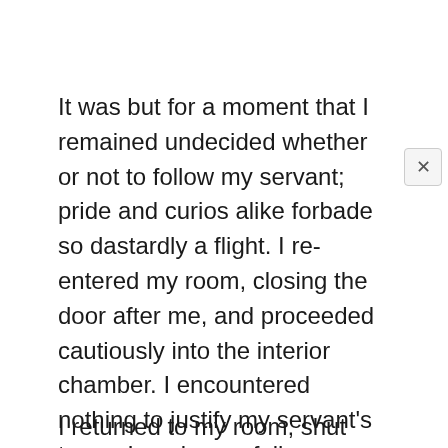It was but for a moment that I remained undecided whether or not to follow my servant; pride and curios alike forbade so dastardly a flight. I re-entered my room, closing the door after me, and proceeded cautiously into the interior chamber. I encountered nothing to justify my servant's terror. I again carefully examined the walls, to see if there were any concealed door. I could find no trace of one,—not even a seam in the dull-brown paper with which the room was hung. How, then, had the THING, whatever it was, which had so scared him, obtained ingress except though my own chamber?
I returned to my room, shut and locked the door that